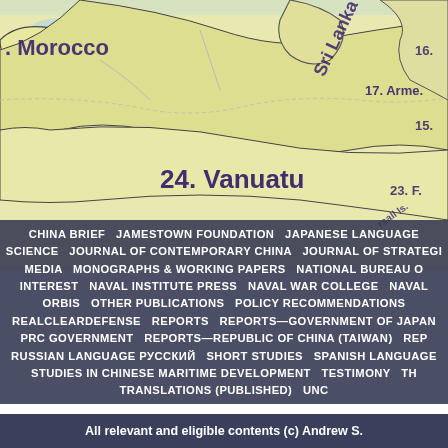[Figure (map): Partial world map showing regions including Morocco (top left), Sri Lanka (top center), Armenia (top right), Vanuatu (center), and Marshall Islands (right), with numbered labels such as 24. Vanuatu, 17., 23., 15., 16.]
CHINA BRIEF   JAMESTOWN FOUNDATION   JAPANESE LANGUAGE   SCIENCE   JOURNAL OF CONTEMPORARY CHINA   JOURNAL OF STRATEGIC   MEDIA   MONOGRAPHS & WORKING PAPERS   NATIONAL BUREAU O   INTEREST   NAVAL INSTITUTE PRESS   NAVAL WAR COLLEGE   NAVAL   ORBIS   OTHER PUBLICATIONS   POLICY RECOMMENDATIONS   REALCLEARDEFENSE   REPORTS   REPORTS—GOVERNMENT OF JAPAN   PRC GOVERNMENT   REPORTS—REPUBLIC OF CHINA (TAIWAN)   REP   RUSSIAN LANGUAGE РУССКИЙ   SHORT STUDIES   SPANISH LANGUAGE   STUDIES IN CHINESE MARITIME DEVELOPMENT   TESTIMONY   TH   TRANSLATIONS (PUBLISHED)   UNC
All relevant and eligible contents (c) Andrew S.